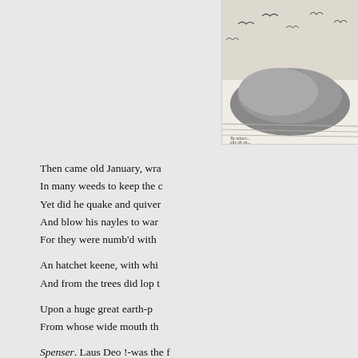[Figure (illustration): A black and white engraving or woodcut illustration showing birds (possibly seagulls) flying over water or rocky landscape, partially cropped at the right edge of the page. The image sits in the upper right corner.]
Then came old January, wra
In many weeds to keep the c
Yet did he quake and quiver
And blow his nayles to war
For they were numb'd with
An hatchet keene, with whi
And from the trees did lop t
Upon a huge great earth-p
From whose wide mouth th
Spenser. Laus Deo !-was the f
tradesmen of our fore- 'sons, in "